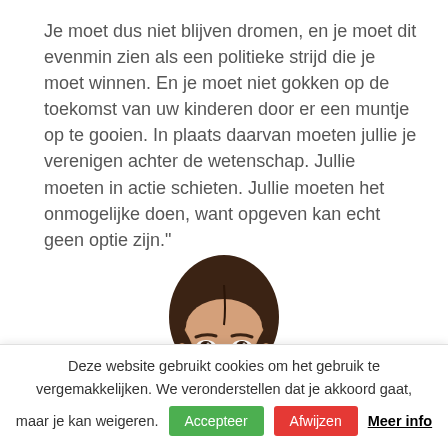Je moet dus niet blijven dromen, en je moet dit evenmin zien als een politieke strijd die je moet winnen. En je moet niet gokken op de toekomst van uw kinderen door er een muntje op te gooien. In plaats daarvan moeten jullie je verenigen achter de wetenschap. Jullie moeten in actie schieten. Jullie moeten het onmogelijke doen, want opgeven kan echt geen optie zijn."
[Figure (photo): Portrait photo of a young woman with braided dark hair, looking directly at the camera with a neutral expression, white collar visible at bottom.]
Deze website gebruikt cookies om het gebruik te vergemakkelijken. We veronderstellen dat je akkoord gaat, maar je kan weigeren.
Accepteer | Afwijzen | Meer info